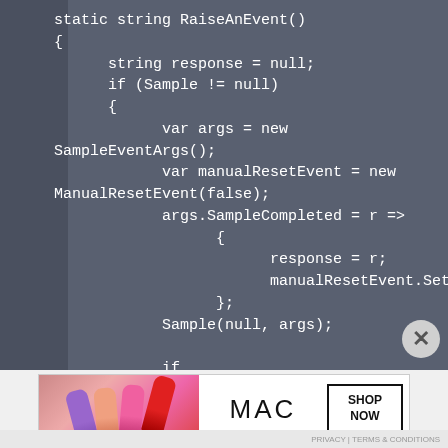[Figure (screenshot): Code editor screenshot showing C# method RaiseAnEvent() with event handling code on dark grey background]
[Figure (photo): MAC cosmetics advertisement banner with lipsticks and SHOP NOW button]